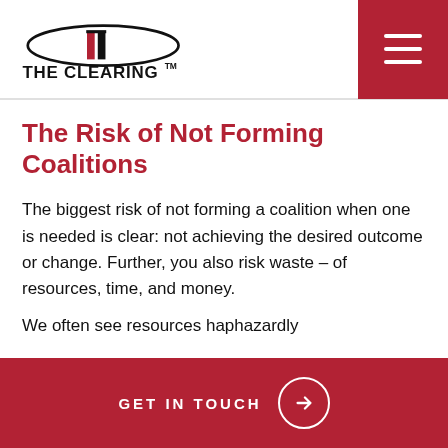[Figure (logo): The Clearing logo — oval with stylized building icon above text 'THE CLEARING' with TM mark]
The Risk of Not Forming Coalitions
The biggest risk of not forming a coalition when one is needed is clear: not achieving the desired outcome or change. Further, you also risk waste – of resources, time, and money.
We often see resources haphazardly
GET IN TOUCH →